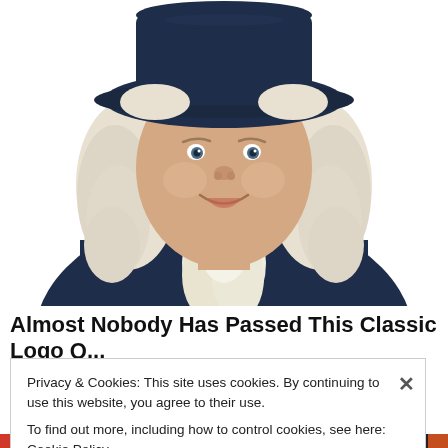[Figure (illustration): Illustration of the Quaker Oats man mascot — a smiling colonial-era figure with white curly hair, wearing a dark navy blue hat and coat with a white ruffled cravat, shown from the chest up against a white background.]
Almost Nobody Has Passed This Classic Logo Q...
Privacy & Cookies: This site uses cookies. By continuing to use this website, you agree to their use.
To find out more, including how to control cookies, see here: Cookie Policy